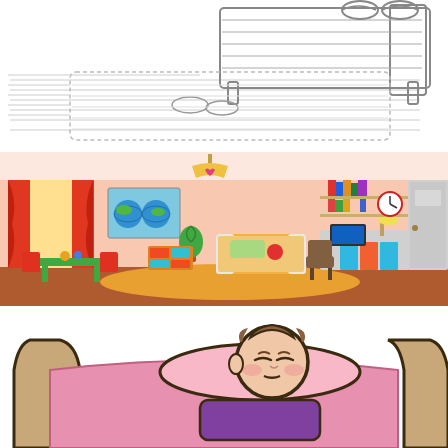[Figure (illustration): Line art / coloring page style drawing of a bedroom scene. Shows a bed with legs visible, a person lying down with feet near the edge, slippers on the floor, and a rug. Black and white outline illustration.]
[Figure (illustration): Colorful cartoon illustration of a child's bedroom. Features pink/peach wallpaper, orange curtains, a window with yellow light, a world map poster, bookshelves with books and toys, a single bed with orange headboard, a study desk with laptop, an office chair, a wall clock, a small table and chairs, and a door. Warm orange and pink tones throughout.]
[Figure (illustration): Cartoon illustration of a child sleeping in bed. Shows a child with brown hair lying on a pink pillow under a pink/purple blanket or book cover, tucked into a beige/tan bed frame. The child appears to be asleep or just waking up. Thick black outlines, cartoon style.]